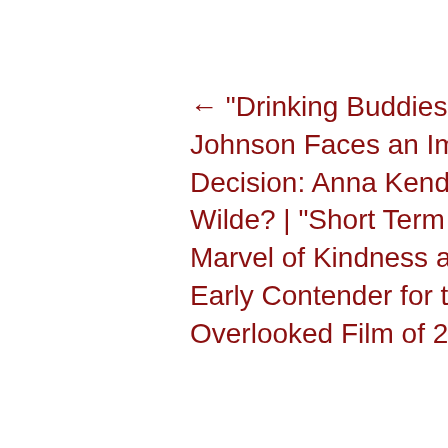← "Drinking Buddies" Review: Jake Johnson Faces an Impossible Decision: Anna Kendrick or Olivia Wilde? | "Short Term 12" Review: A Marvel of Kindness and Warmth, an Early Contender for the Most Criminally Overlooked Film of 2013 →